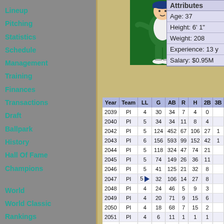Lineup
Pitching
Statistics
Schedule
Management
Training
Finances
Transactions
Draft
Ballpark
History
Hall Of Fame
Champions
World
World Classic
Rankings
Free Agents
New Manager / Coach
[Figure (illustration): Cartoon baseball player character in green uniform]
| Attributes |  |
| --- | --- |
| Age: 37 |  |
| Height: 6' 1" |  |
| Weight: 208 |  |
| Experience: 13 y |  |
| Salary: $0.95M |  |
| Year | Team | LL | G | AB | R | H | 2B | 3B |
| --- | --- | --- | --- | --- | --- | --- | --- | --- |
| 2039 | PI | 4 | 30 | 34 | 7 | 4 | 0 |  |
| 2040 | PI | 5 | 34 | 34 | 11 | 8 | 4 |  |
| 2042 | PI | 5 | 124 | 452 | 67 | 106 | 27 | 1 |
| 2043 | PI | 6 | 156 | 593 | 99 | 152 | 42 | 1 |
| 2044 | PI | 5 | 118 | 324 | 47 | 74 | 21 |  |
| 2045 | PI | 5 | 74 | 149 | 26 | 36 | 11 |  |
| 2046 | PI | 5 | 41 | 125 | 21 | 32 | 8 |  |
| 2047 | PI | 5 ▶ | 32 | 106 | 14 | 27 | 8 |  |
| 2048 | PI | 4 | 24 | 46 | 5 | 9 | 3 |  |
| 2049 | PI | 4 | 20 | 71 | 9 | 15 | 6 |  |
| 2050 | PI | 4 | 18 | 68 | 7 | 15 | 2 |  |
| 2051 | PI | 4 | 6 | 11 | 1 | 1 | 1 |  |
| 2052 | CIN | 6 | 160 | 614 | 92 | 139 | 36 |  |
| 2053 | CIN | 6 | 144 | 558 | 84 | 124 | 36 |  |